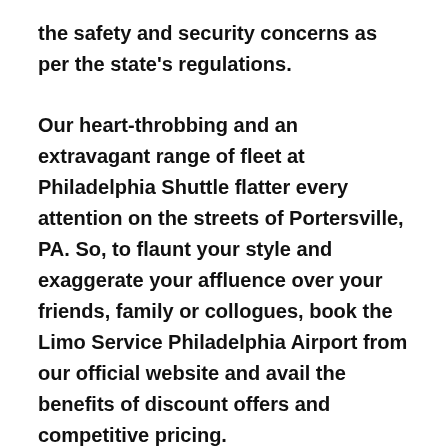the safety and security concerns as per the state's regulations.
Our heart-throbbing and an extravagant range of fleet at Philadelphia Shuttle flatter every attention on the streets of Portersville, PA. So, to flaunt your style and exaggerate your affluence over your friends, family or collogues, book the Limo Service Philadelphia Airport from our official website and avail the benefits of discount offers and competitive pricing.
With Philadelphia Limo Service, we strive to maintain punctuality and timely transport as a primary concern. When it comes to airport transfers, no one can beat Philadelphia Shuttle services for